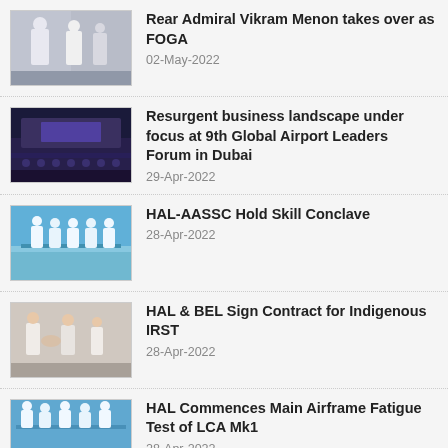Rear Admiral Vikram Menon takes over as FOGA
02-May-2022
Resurgent business landscape under focus at 9th Global Airport Leaders Forum in Dubai
29-Apr-2022
HAL-AASSC Hold Skill Conclave
28-Apr-2022
HAL & BEL Sign Contract for Indigenous IRST
28-Apr-2022
HAL Commences Main Airframe Fatigue Test of LCA Mk1
28-Apr-2022
Saab Appoints Mats Palmberg as India Head
25-Apr-2022